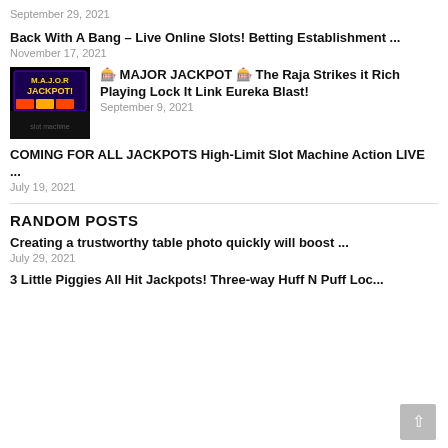September 29, 2021
Back With A Bang – Live Online Slots! Betting Establishment ...
November 17, 2021
[Figure (photo): Thumbnail image showing MAJOR JACKPOT text on dark background with colorful slot machine graphics]
🎰 MAJOR JACKPOT 🎰 The Raja Strikes it Rich Playing Lock It Link Eureka Blast!
September 9, 2021
COMING FOR ALL JACKPOTS High-Limit Slot Machine Action LIVE ...
July 19, 2021
RANDOM POSTS
Creating a trustworthy table photo quickly will boost ...
July 29, 2021
3 Little Piggies All Hit Jackpots! Three-way Huff N Puff Loc...